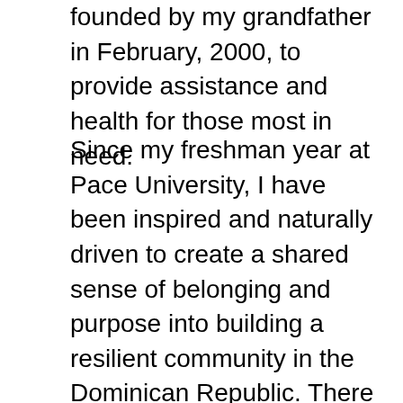founded by my grandfather in February, 2000, to provide assistance and health for those most in need.
Since my freshman year at Pace University, I have been inspired and naturally driven to create a shared sense of belonging and purpose into building a resilient community in the Dominican Republic. There is a lot of potential in the long term for the Foundation to assist the growth of sustainable communities and help the most vulnerable develop their own abilities. Unfortunately, a lack of funding has prevented the Foundation from achieving its full effect. I aim to help revive it because striving for the well-being of the most vulnerable is worth it, especially for those who have special needs and who are elderly. As part of this, I chose to serve those in most need in DR as my Advance Project for selection from the B...